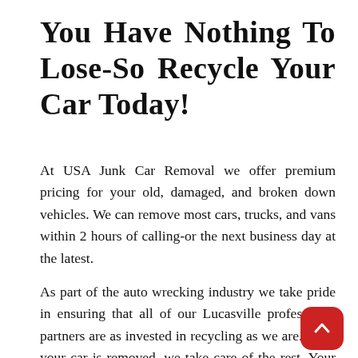You Have Nothing To Lose-So Recycle Your Car Today!
At USA Junk Car Removal we offer premium pricing for your old, damaged, and broken down vehicles. We can remove most cars, trucks, and vans within 2 hours of calling-or the next business day at the latest.
As part of the auto wrecking industry we take pride in ensuring that all of our Lucasville professional partners are as invested in recycling as we are. Once your car is removed, we take care of the rest. Your car will be